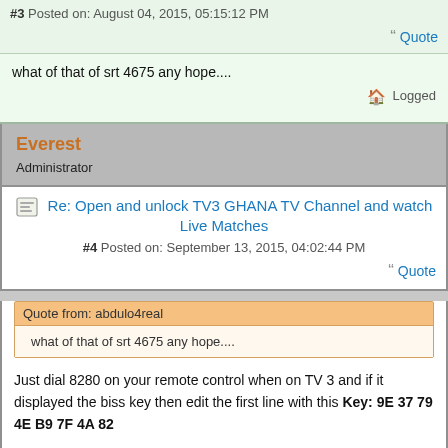#3 Posted on: August 04, 2015, 05:15:12 PM
Quote
what of that of srt 4675 any hope....
Logged
Everest
Administrator
Re: Open and unlock TV3 GHANA TV Channel and watch Live Matches
#4 Posted on: September 13, 2015, 04:02:44 PM
Quote
Quote from: abdulo4real
what of that of srt 4675 any hope....
Just dial 8280 on your remote control when on TV 3 and if it displayed the biss key then edit the first line with this Key: 9E 37 79 4E B9 7F 4A 82